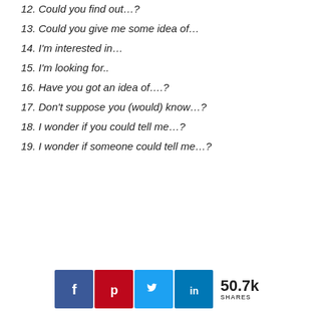12. Could you find out…?
13. Could you give me some idea of…
14. I'm interested in…
15. I'm looking for..
16. Have you got an idea of….?
17. Don't suppose you (would) know…?
18. I wonder if you could tell me…?
19. I wonder if someone could tell me…?
[Figure (infographic): Social share buttons for Facebook, Pinterest, Twitter, LinkedIn with share count of 50.7k]